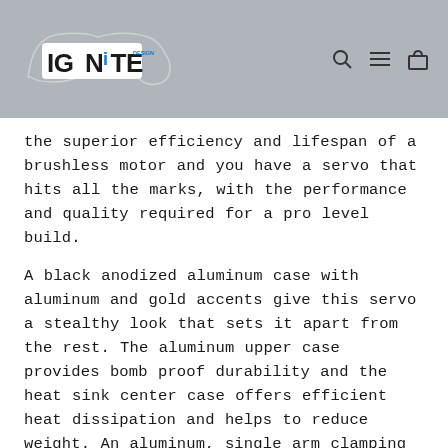IGNITE DESIGN logo with navigation icons
the superior efficiency and lifespan of a brushless motor and you have a servo that hits all the marks, with the performance and quality required for a pro level build.
A black anodized aluminum case with aluminum and gold accents give this servo a stealthy look that sets it apart from the rest. The aluminum upper case provides bomb proof durability and the heat sink center case offers efficient heat dissipation and helps to reduce weight. An aluminum, single arm clamping servo horn is included, as well as a full set of servo mounting washers for a rock solid and durable installation.